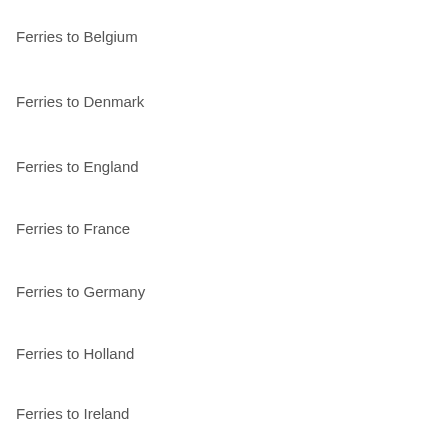Ferries to Belgium
Ferries to Denmark
Ferries to England
Ferries to France
Ferries to Germany
Ferries to Holland
Ferries to Ireland
Ferries to Northern Ireland